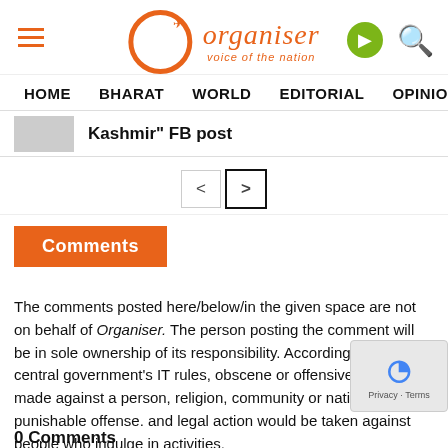Organiser - Voice of the Nation
HOME   BHARAT   WORLD   EDITORIAL   OPINION   ANA
Kashmir" FB post
Comments
The comments posted here/below/in the given space are not on behalf of Organiser. The person posting the comment will be in sole ownership of its responsibility. According to the central government's IT rules, obscene or offensive statement made against a person, religion, community or nation is a punishable offense. and legal action would be taken against people who indulge in activities.
0 Comments